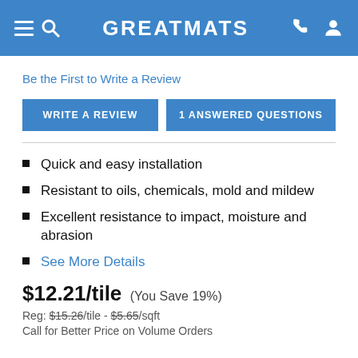GREATMATS
Be the First to Write a Review
WRITE A REVIEW
1 ANSWERED QUESTIONS
Quick and easy installation
Resistant to oils, chemicals, mold and mildew
Excellent resistance to impact, moisture and abrasion
See More Details
$12.21/tile (You Save 19%)
Reg: $15.26/tile - $5.65/sqft
Call for Better Price on Volume Orders